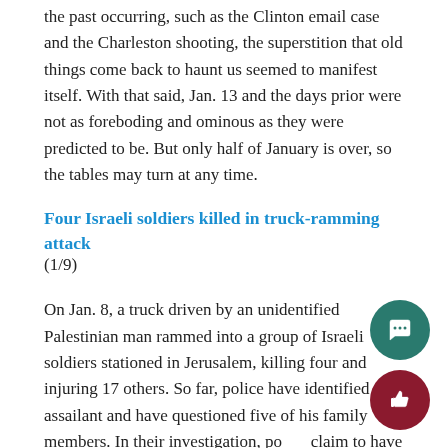the past occurring, such as the Clinton email case and the Charleston shooting, the superstition that old things come back to haunt us seemed to manifest itself. With that said, Jan. 13 and the days prior were not as foreboding and ominous as they were predicted to be. But only half of January is over, so the tables may turn at any time.
Four Israeli soldiers killed in truck-ramming attack (1/9)
On Jan. 8, a truck driven by an unidentified Palestinian man rammed into a group of Israeli soldiers stationed in Jerusalem, killing four and injuring 17 others. So far, police have identified the assailant and have questioned five of his family members. In their investigation, police claim to have found ties between the driver and the Islamic State.
The man drove into a crowd of police that were on a tour